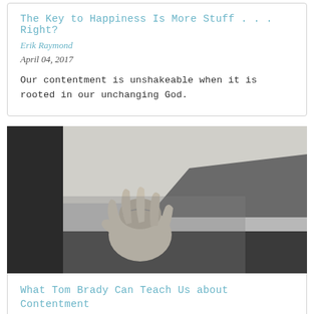The Key to Happiness Is More Stuff . . . Right?
Erik Raymond
April 04, 2017
Our contentment is unshakeable when it is rooted in our unchanging God.
[Figure (photo): Black and white photo of a hand holding a football, viewed from below against a grey sky]
What Tom Brady Can Teach Us about Contentment